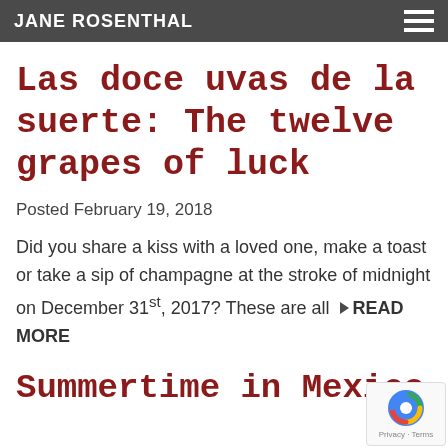JANE ROSENTHAL
Las doce uvas de la suerte: The twelve grapes of luck
Posted February 19, 2018
Did you share a kiss with a loved one, make a toast or take a sip of champagne at the stroke of midnight on December 31st, 2017? These are all ▶ READ MORE
Summertime in Mexico